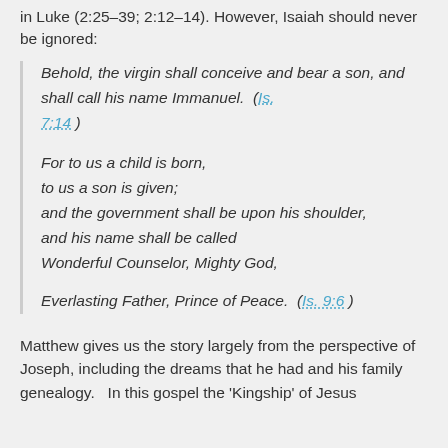in Luke (2:25–39; 2:12–14). However, Isaiah should never be ignored:
Behold, the virgin shall conceive and bear a son, and shall call his name Immanuel. (Is. 7:14)

For to us a child is born,
to us a son is given;
and the government shall be upon his shoulder,
and his name shall be called Wonderful Counselor, Mighty God,

Everlasting Father, Prince of Peace. (Is. 9:6)
Matthew gives us the story largely from the perspective of Joseph, including the dreams that he had and his family genealogy.  In this gospel the 'Kingship' of Jesus